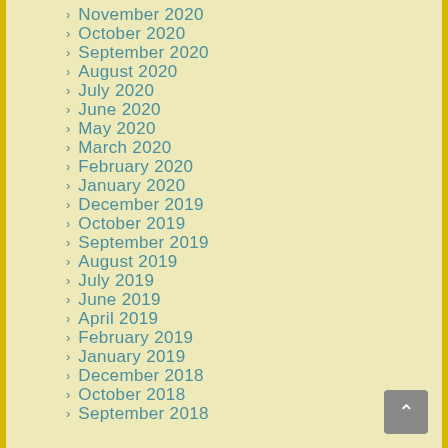November 2020
October 2020
September 2020
August 2020
July 2020
June 2020
May 2020
March 2020
February 2020
January 2020
December 2019
October 2019
September 2019
August 2019
July 2019
June 2019
April 2019
February 2019
January 2019
December 2018
October 2018
September 2018